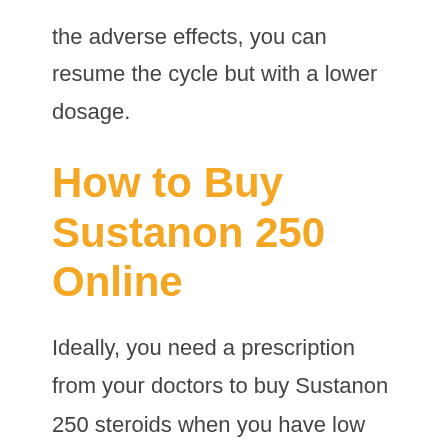the adverse effects, you can resume the cycle but with a lower dosage.
How to Buy Sustanon 250 Online
Ideally, you need a prescription from your doctors to buy Sustanon 250 steroids when you have low testosterone levels. Also, various states do not encourage the use of steroids in therapeutic interventions. It may be equally hard to